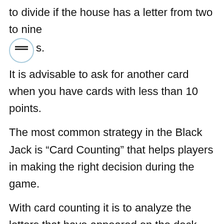to divide if the house has a letter from two to nine [menu icon] points.
It is advisable to ask for another card when you have cards with less than 10 points.
The most common strategy in the Black Jack is "Card Counting" that helps players in making the right decision during the game.
With card counting it is to analyze the letters that have appeared on the deck and analyze the chances of getting a card worth 10 points * (nominal number or letter)
Fold in 10 or 11 against all up cards or 9 against two through six.
Rounding is advisable to surrender with 16 or below if the dealer has an 8, 9 or an ace, and